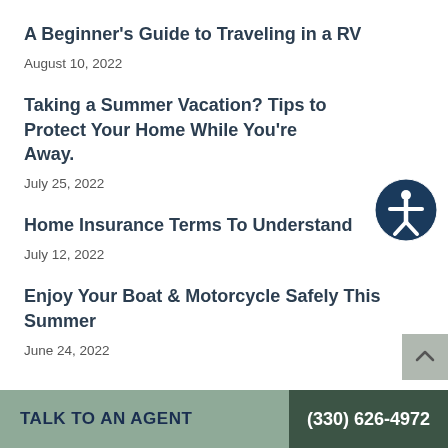A Beginner's Guide to Traveling in a RV
August 10, 2022
Taking a Summer Vacation? Tips to Protect Your Home While You're Away.
July 25, 2022
Home Insurance Terms To Understand
July 12, 2022
Enjoy Your Boat & Motorcycle Safely This Summer
June 24, 2022
TALK TO AN AGENT  (330) 626-4972